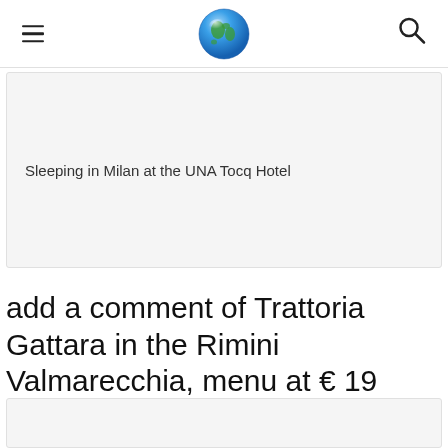Sleeping in Milan at the UNA Tocq Hotel
add a comment of Trattoria Gattara in the Rimini Valmarecchia, menu at € 19